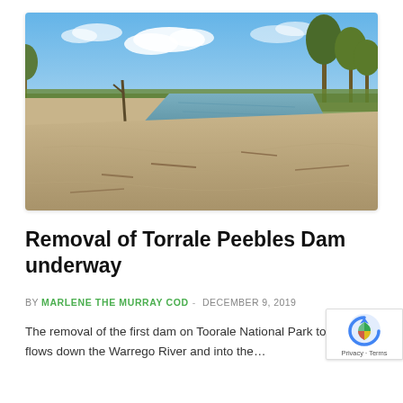[Figure (photo): Photo of a dry sandy riverbed with some water visible in the distance, surrounded by eucalyptus trees and scrubby vegetation under a blue sky with white clouds. Foreground shows cracked, dry sandy riverbank.]
Removal of Torrale Peebles Dam underway
BY MARLENE THE MURRAY COD - DECEMBER 9, 2019
The removal of the first dam on Toorale National Park to e flows down the Warrego River and into the…